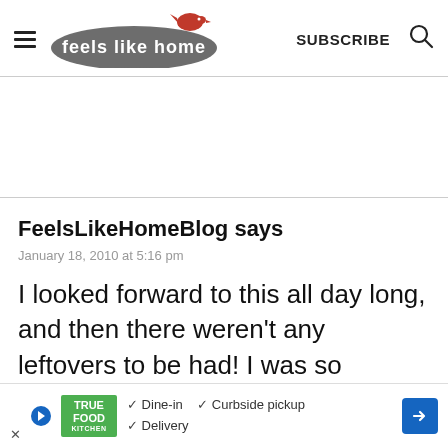feels like home - SUBSCRIBE
FeelsLikeHomeBlog says
January 18, 2010 at 5:16 pm
I looked forward to this all day long, and then there weren't any leftovers to be had! I was so bummed! We're going to
[Figure (other): Bottom advertisement banner for True Food Kitchen showing Dine-in, Curbside pickup, and Delivery options with a blue arrow icon]